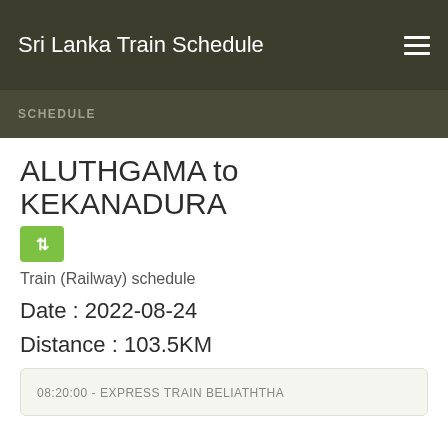Sri Lanka Train Schedule
SCHEDULE
ALUTHGAMA to KEKANADURA
Train (Railway) schedule
Date : 2022-08-24
Distance : 103.5KM
08:20:00 - EXPRESS TRAIN BELIATHTHA